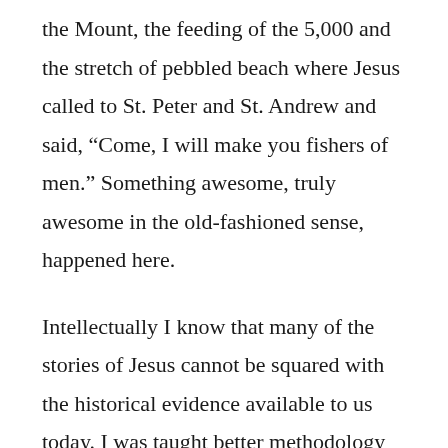the Mount, the feeding of the 5,000 and the stretch of pebbled beach where Jesus called to St. Peter and St. Andrew and said, “Come, I will make you fishers of men.” Something awesome, truly awesome in the old-fashioned sense, happened here.
Intellectually I know that many of the stories of Jesus cannot be squared with the historical evidence available to us today. I was taught better methodology in the history department at the University of Tennessee-Knoxville than to deny that. But I couldn’t shake the feeling that day that among these stones, on these hillsides, beside this inland sea